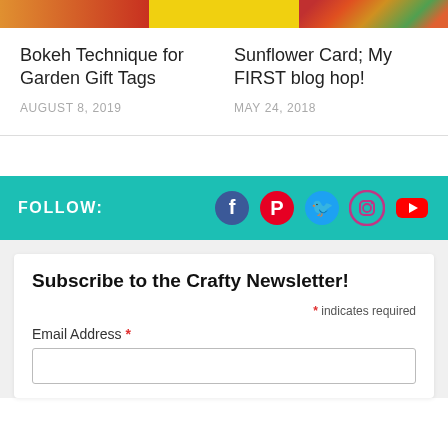[Figure (photo): Three partial images at the top: left image with warm tones (orange/red), middle image with yellow background, right image with colorful flower/tie-dye pattern]
Bokeh Technique for Garden Gift Tags
AUGUST 8, 2019
Sunflower Card; My FIRST blog hop!
MAY 24, 2018
FOLLOW:
[Figure (infographic): Social media icons: Facebook (dark blue circle), Pinterest (red circle), Twitter (teal bird), Instagram (purple/pink outline circle), YouTube (red rounded rectangle)]
Subscribe to the Crafty Newsletter!
* indicates required
Email Address *